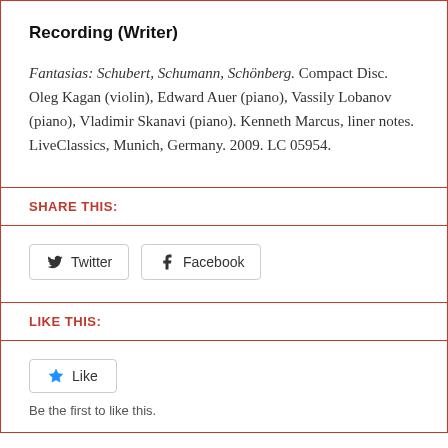Recording (Writer)
Fantasias: Schubert, Schumann, Schönberg. Compact Disc. Oleg Kagan (violin), Edward Auer (piano), Vassily Lobanov (piano), Vladimir Skanavi (piano). Kenneth Marcus, liner notes. LiveClassics, Munich, Germany. 2009. LC 05954.
SHARE THIS:
[Figure (other): Twitter and Facebook share buttons]
LIKE THIS:
[Figure (other): Like button with star icon]
Be the first to like this.